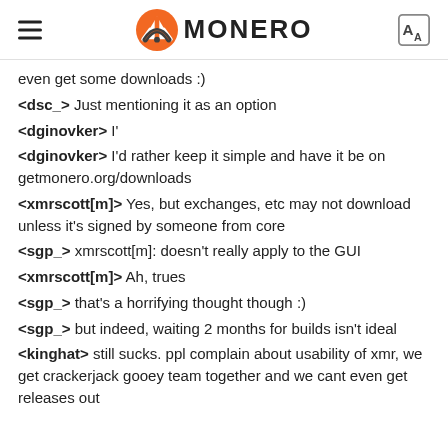MONERO
even get some downloads :)
<dsc_> Just mentioning it as an option
<dginovker> I'
<dginovker> I'd rather keep it simple and have it be on getmonero.org/downloads
<xmrscott[m]> Yes, but exchanges, etc may not download unless it's signed by someone from core
<sgp_> xmrscott[m]: doesn't really apply to the GUI
<xmrscott[m]> Ah, trues
<sgp_> that's a horrifying thought though :)
<sgp_> but indeed, waiting 2 months for builds isn't ideal
<kinghat> still sucks. ppl complain about usability of xmr, we get crackerjack gooey team together and we cant even get releases out